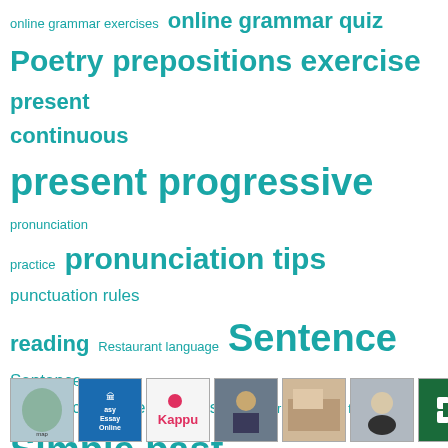[Figure (infographic): Word cloud / tag cloud of English language learning topics in teal/cyan color on white background. Terms vary in size indicating frequency/importance. Terms include: online grammar exercises, online grammar quiz, Poetry, prepositions exercise, present continuous, present progressive, pronunciation practice, pronunciation tips, punctuation rules, reading, Restaurant language, Sentence, Sentence (linguistics), sentence types, short stories, simple future, Simple past, Simple present, speaking tips, spelling tips, Teaching English as a foreign language, tenses quiz, toefl practice, travel vocabulary, verbs vocabulary, vocabulary exercise, vocabulary quiz, Vowel, Word order, Writing, writing emails, writing exercise, writing practice]
[Figure (infographic): Row of small thumbnail images at the bottom of the page including: a map of Brazil-like shape, Easy Essay Online logo, Kappu logo with pink bird, person thinking, interior/room, person with sunglasses, green geometric pattern]